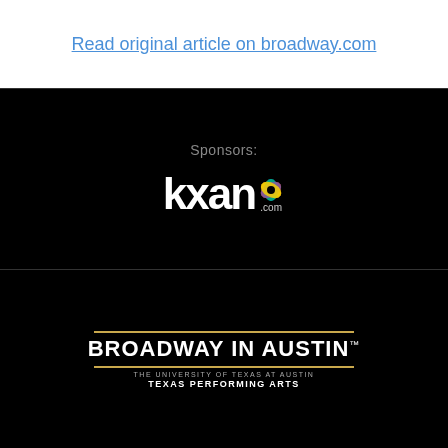Read original article on broadway.com
Sponsors:
[Figure (logo): KXAN.com logo with NBC peacock icon on black background]
[Figure (logo): Broadway in Austin - The University of Texas at Austin Texas Performing Arts logo on black background with gold lines]